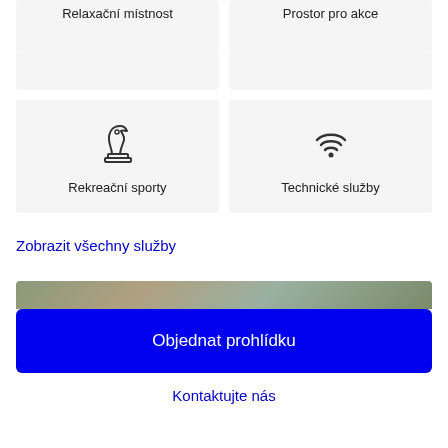Relaxační místnost
Prostor pro akce
[Figure (illustration): Chess knight piece icon representing recreational sports]
Rekreační sporty
[Figure (illustration): WiFi icon representing technical services]
Technické služby
Zobrazit všechny služby
[Figure (photo): Outdoor or nature photo strip at bottom of page]
Objednat prohlídku
Kontaktujte nás